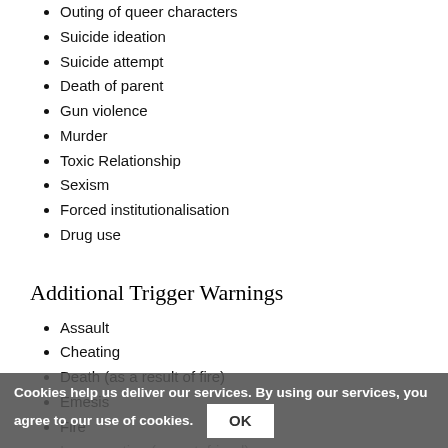Outing of queer characters
Suicide ideation
Suicide attempt
Death of parent
Gun violence
Murder
Toxic Relationship
Sexism
Forced institutionalisation
Drug use
Additional Trigger Warnings
Assault
Cheating
Death (as a result of fire)
Emesis
Fire
Incarceration (parent, friend)
Sexual assault
Slut shaming
Cookies help us deliver our services. By using our services, you agree to our use of cookies.